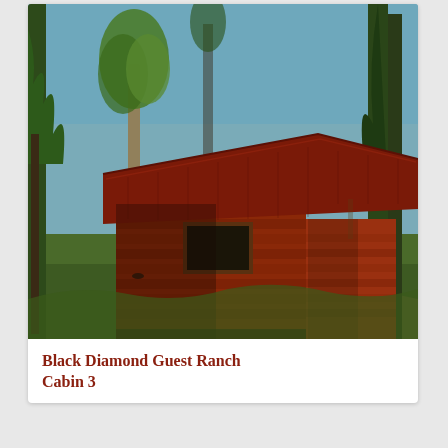[Figure (photo): Photograph of a red log cabin with a red metal roof, surrounded by tall pine and aspen trees on a grassy property. Blue sky visible through the trees.]
Black Diamond Guest Ranch
Cabin 3